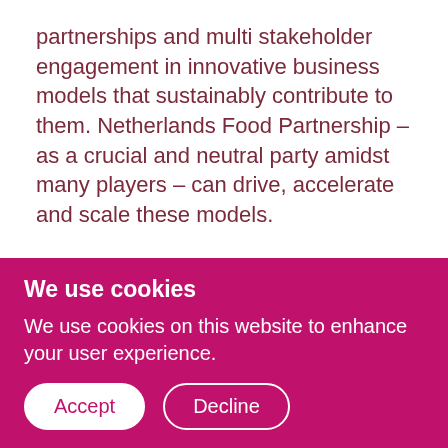partnerships and multi stakeholder engagement in innovative business models that sustainably contribute to them. Netherlands Food Partnership – as a crucial and neutral party amidst many players – can drive, accelerate and scale these models.
Current Position: Global Head F&A Networks, Rabobank. Ancillary Positions: none
We use cookies
We use cookies on this website to enhance your user experience.
Accept
Decline